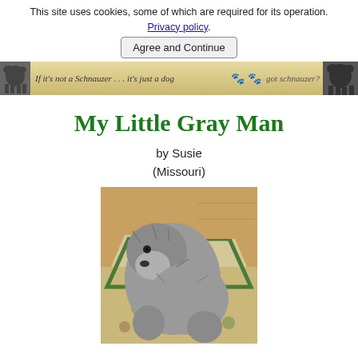This site uses cookies, some of which are required for its operation. Privacy policy. Agree and Continue
[Figure (photo): Website banner with tan/gold background showing text 'If it's not a Schnauzer... it's just a dog' with paw prints and 'got schnauzer?' along with silhouetted dog images on each end]
My Little Gray Man
by Susie
(Missouri)
[Figure (photo): A gray Schnauzer dog lying on a decorative rug with green and floral patterns on a wooden floor]